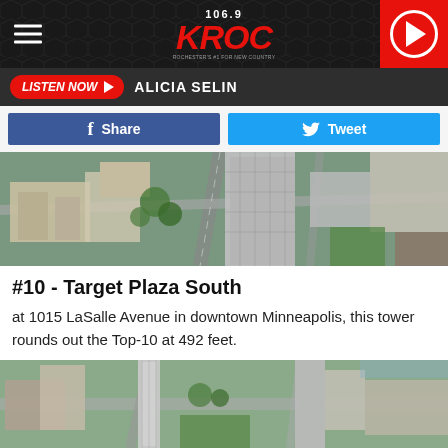[Figure (screenshot): 106.9 KROC radio station website header with honeycomb background, hamburger menu on left, KROC logo in center, red play button on right]
[Figure (screenshot): Listen Now button in red with play arrow, followed by text ALICIA SELIN on dark grey bar]
[Figure (screenshot): Facebook Share button (blue) and Twitter Tweet button (light blue) social sharing buttons]
[Figure (photo): Aerial photograph of downtown Minneapolis showing Target Plaza South and surrounding buildings from above]
#10 - Target Plaza South
at 1015 LaSalle Avenue in downtown Minneapolis, this tower rounds out the Top-10 at 492 feet.
[Figure (photo): Aerial photograph of Minneapolis city skyline from above showing various skyscrapers and urban landscape]